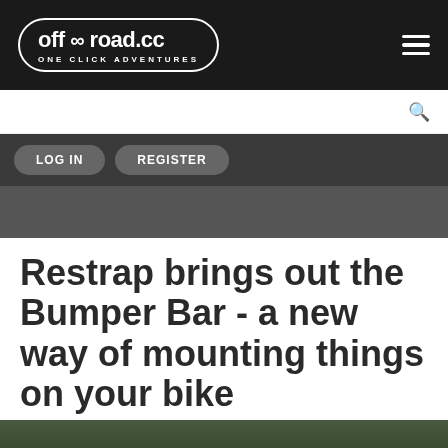off∞road.cc ONE CLICK ADVENTURES
LOG IN   REGISTER
Restrap brings out the Bumper Bar - a new way of mounting things on your bike
The new accessory will give you extra bar space and clearance
[Figure (photo): Partial view of a bicycle-related photo at the bottom of the page]